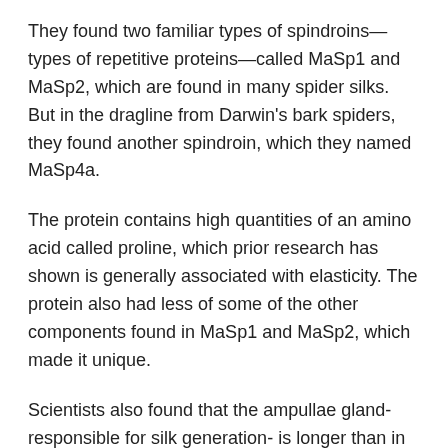They found two familiar types of spindroins—types of repetitive proteins—called MaSp1 and MaSp2, which are found in many spider silks. But in the dragline from Darwin's bark spiders, they found another spindroin, which they named MaSp4a.
The protein contains high quantities of an amino acid called proline, which prior research has shown is generally associated with elasticity. The protein also had less of some of the other components found in MaSp1 and MaSp2, which made it unique.
Scientists also found that the ampullae gland- responsible for silk generation- is longer than in other spiders. However, the discovery offers another clue to the strength of the silk that is produced.